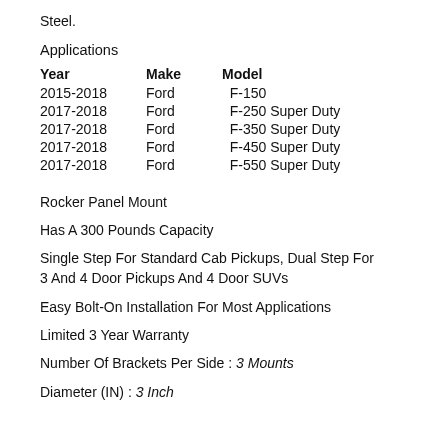Steel.
Applications
| Year | Make | Model |
| --- | --- | --- |
| 2015-2018 | Ford | F-150 |
| 2017-2018 | Ford | F-250 Super Duty |
| 2017-2018 | Ford | F-350 Super Duty |
| 2017-2018 | Ford | F-450 Super Duty |
| 2017-2018 | Ford | F-550 Super Duty |
Rocker Panel Mount
Has A 300 Pounds Capacity
Single Step For Standard Cab Pickups, Dual Step For 3 And 4 Door Pickups And 4 Door SUVs
Easy Bolt-On Installation For Most Applications
Limited 3 Year Warranty
Number Of Brackets Per Side : 3 Mounts
Diameter (IN) : 3 Inch